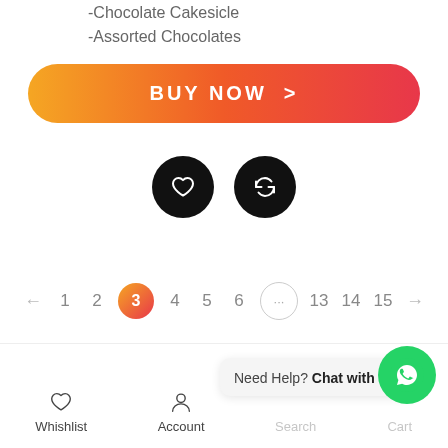-Chocolate Cakesicle
-Assorted Chocolates
[Figure (screenshot): BUY NOW button with gradient orange-to-red background and chevron]
[Figure (screenshot): Two circular black icon buttons: heart (wishlist) and refresh/compare]
[Figure (screenshot): Pagination row: ← 1 2 [3] 4 5 6 ... 13 14 15 →]
[Figure (screenshot): Bottom navigation bar with Whishlist, Account, Search, Cart and chat popup 'Need Help? Chat with us' and WhatsApp green button]